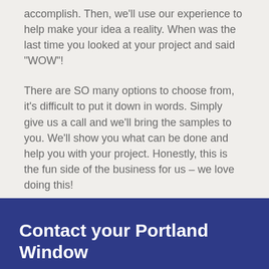accomplish. Then, we’ll use our experience to help make your idea a reality. When was the last time you looked at your project and said “WOW”!
There are SO many options to choose from, it’s difficult to put it down in words. Simply give us a call and we’ll bring the samples to you. We’ll show you what can be done and help you with your project. Honestly, this is the fun side of the business for us – we love doing this!
Contact your Portland Window